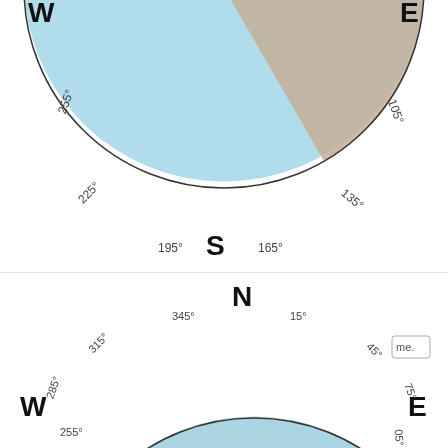[Figure (other): Top wind rose diagram (partial, upper half visible): compass rose with cardinal directions W, E, S and degree labels 255°, 225°, 195°, 165°, 135°, 105°. Large light blue sector fills most of the rose. A small teal/cyan cluster near top center (N direction). A tan/beige wedge sector at upper right (around 90°-120°).]
Outubro
[Figure (other): Bottom wind rose diagram (Outubro / October): compass rose with cardinal directions N, W, E and degree labels 345°, 15°, 45°, 75°, 50°, 255°, 285°, 315°. Blue petals/bars extending toward NE (around 30°-60°) indicating predominant wind direction. Small cyan cluster at center. Tan/beige sector at upper left (NW-N). Light blue sector at lower half. A small legend box labeled 'me.' at upper right.]